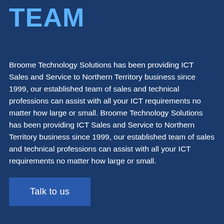TEAM
Broome Technology Solutions has been providing ICT Sales and Service to Northern Territory business since 1999, our established team of sales and technical professions can assist with all your ICT requirements no matter how large or small. Broome Technology Solutions has been providing ICT Sales and Service to Northern Territory business since 1999, our established team of sales and technical professions can assist with all your ICT requirements no matter how large or small.
Talk to us